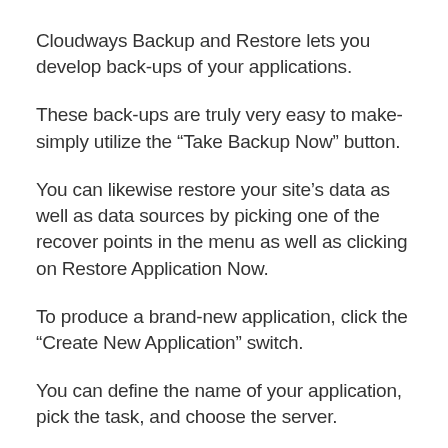Cloudways Backup and Restore lets you develop back-ups of your applications.
These back-ups are truly very easy to make- simply utilize the “Take Backup Now” button.
You can likewise restore your site’s data as well as data sources by picking one of the recover points in the menu as well as clicking on Restore Application Now.
To produce a brand-new application, click the “Create New Application” switch.
You can define the name of your application, pick the task, and choose the server.